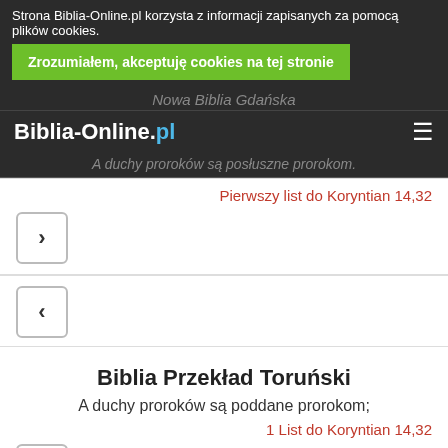Strona Biblia-Online.pl korzysta z informacji zapisanych za pomocą plików cookies. Zrozumiałem, akceptuję cookies na tej stronie
Biblia-Online.pl
A duchy proroków są posłuszne prorokom.
Pierwszy list do Koryntian 14,32
[Figure (other): Navigation button with right arrow chevron]
[Figure (other): Navigation button with left arrow chevron]
Biblia Przekład Toruński
A duchy proroków są poddane prorokom;
1 List do Koryntian 14,32
[Figure (other): Navigation button with right arrow chevron]